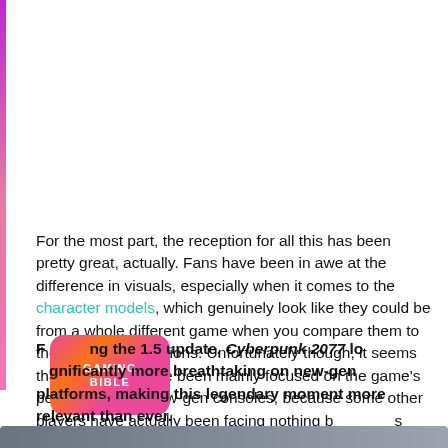For the most part, the reception for all this has been pretty great, actually. Fans have been in awe at the difference in visuals, especially when it comes to the character models, which genuinely look like they could be from a whole different game when you compare them to their pre-patch versions. Unfortunately though, it seems that the efforts have been mainly focused on the game's performance on new-gen consoles, because some other players have actually been facing nothing but issues since the update.
[Figure (logo): GamingBible logo - pink-orange gradient rounded square with GAMING BIBLE text]
Following the 1.5 update, Cyberpunk 2077 looks significantly more breathtaking on new-gen platforms, making this legendary moment more relevant than ever.